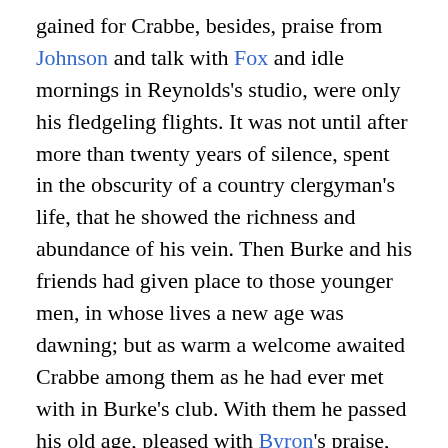gained for Crabbe, besides, praise from Johnson and talk with Fox and idle mornings in Reynolds's studio, were only his fledgeling flights. It was not until after more than twenty years of silence, spent in the obscurity of a country clergyman's life, that he showed the richness and abundance of his vein. Then Burke and his friends had given place to those younger men, in whose lives a new age was dawning; but as warm a welcome awaited Crabbe among them as he had ever met with in Burke's club. With them he passed his old age, pleased with Byron's praise, and with the friendliness of Moore and Rogers, and with Scott's kindly regard and correspondence. They liked to see him, with his beautiful white hair, his formal, old-fashioned garb and old-school manners, the last of that long line of poets through whom the Queen Anne taste had tyrannized for a century in English verse, sitting familiarly among themselves, who